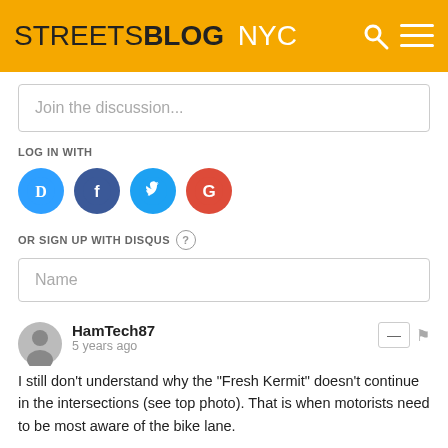STREETSBLOG NYC
Join the discussion...
LOG IN WITH
[Figure (other): Social login icons: Disqus (blue), Facebook (dark blue), Twitter (light blue), Google (red)]
OR SIGN UP WITH DISQUS ?
Name
HamTech87
5 years ago
I still don't understand why the "Fresh Kermit" doesn't continue in the intersections (see top photo). That is when motorists need to be most aware of the bike lane.
Also, there will be flex posts, right?
4  Reply